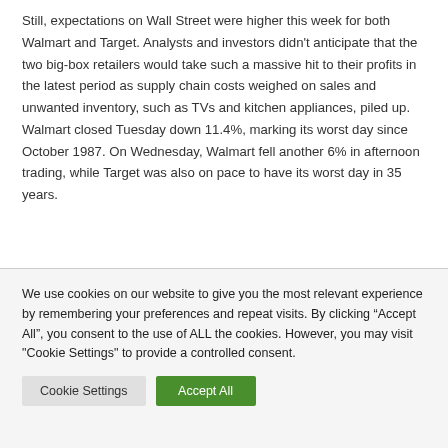Still, expectations on Wall Street were higher this week for both Walmart and Target. Analysts and investors didn't anticipate that the two big-box retailers would take such a massive hit to their profits in the latest period as supply chain costs weighed on sales and unwanted inventory, such as TVs and kitchen appliances, piled up. Walmart closed Tuesday down 11.4%, marking its worst day since October 1987. On Wednesday, Walmart fell another 6% in afternoon trading, while Target was also on pace to have its worst day in 35 years.
We use cookies on our website to give you the most relevant experience by remembering your preferences and repeat visits. By clicking “Accept All”, you consent to the use of ALL the cookies. However, you may visit "Cookie Settings" to provide a controlled consent.